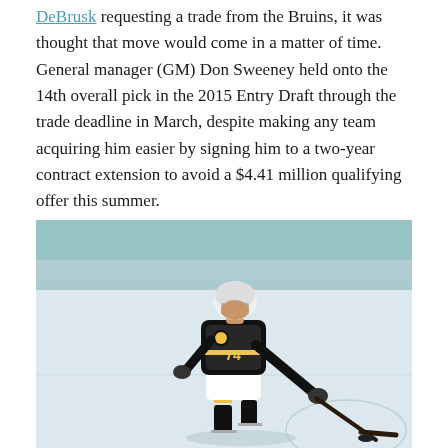DeBrusk requesting a trade from the Bruins, it was thought that move would come in a matter of time. General manager (GM) Don Sweeney held onto the 14th overall pick in the 2015 Entry Draft through the trade deadline in March, despite making any team acquiring him easier by signing him to a two-year contract extension to avoid a $4.41 million qualifying offer this summer.
[Figure (photo): Hockey player wearing Boston Bruins uniform number 74 skating on ice and shooting a puck, wearing a white helmet and black and white jersey with yellow stripes.]